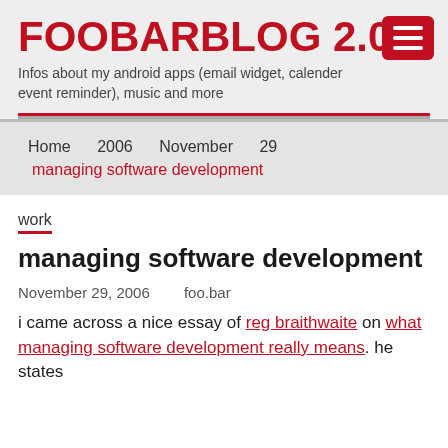FOOBARBLOG 2.0
Infos about my android apps (email widget, calender event reminder), music and more
Home   2006   November   29
managing software development
work
managing software development
November 29, 2006   foo.bar
i came across a nice essay of reg braithwaite on what managing software development really means. he states